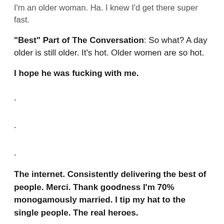I'm an older woman. Ha. I knew I'd get there super fast.
"Best" Part of The Conversation: So what? A day older is still older. It's hot. Older women are so hot.
I hope he was fucking with me.
.
.
.
The internet. Consistently delivering the best of people. Merci. Thank goodness I'm 70% monogamously married. I tip my hat to the single people. The real heroes.
.....